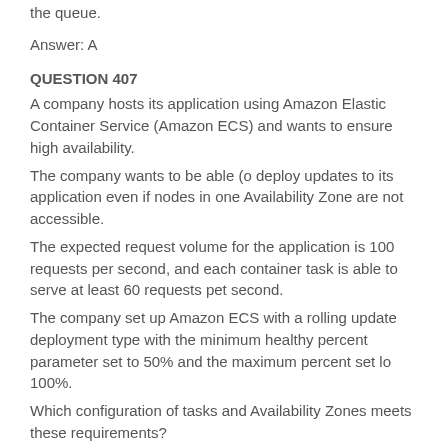the queue.
Answer: A
QUESTION 407
A company hosts its application using Amazon Elastic Container Service (Amazon ECS) and wants to ensure high availability.
The company wants to be able (o deploy updates to its application even if nodes in one Availability Zone are not accessible.
The expected request volume for the application is 100 requests per second, and each container task is able to serve at least 60 requests pet second.
The company set up Amazon ECS with a rolling update deployment type with the minimum healthy percent parameter set to 50% and the maximum percent set lo 100%.
Which configuration of tasks and Availability Zones meets these requirements?